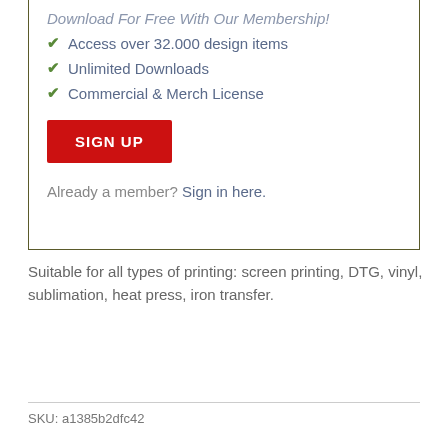✔ Access over 32.000 design items
✔ Unlimited Downloads
✔ Commercial & Merch License
SIGN UP
Already a member? Sign in here.
Suitable for all types of printing: screen printing, DTG, vinyl, sublimation, heat press, iron transfer.
SKU: a1385b2dfc42